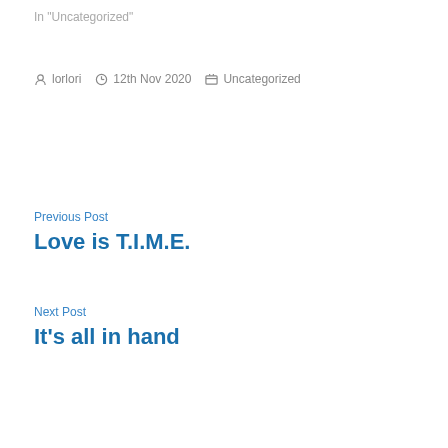In "Uncategorized"
lorlori  12th Nov 2020  Uncategorized
Previous Post
Love is T.I.M.E.
Next Post
It's all in hand